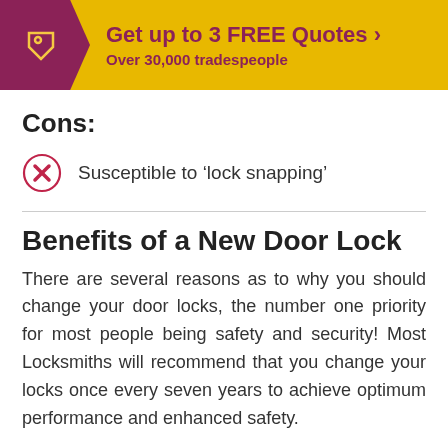[Figure (infographic): Yellow banner with purple left section containing a tag icon and chevron arrow. Text reads 'Get up to 3 FREE Quotes >' and 'Over 30,000 tradespeople']
Cons:
Susceptible to 'lock snapping'
Benefits of a New Door Lock
There are several reasons as to why you should change your door locks, the number one priority for most people being safety and security! Most Locksmiths will recommend that you change your locks once every seven years to achieve optimum performance and enhanced safety.